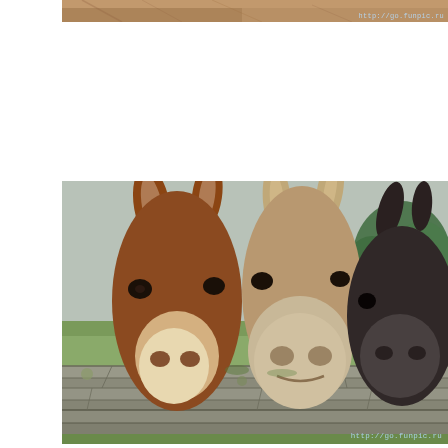[Figure (photo): Top portion of a photo showing sandy/earthy ground or animal fur, cropped at top of page, with watermark 'http://go.funpic.ru' in lower right]
[Figure (photo): Three donkeys facing the camera close-up over a stone wall. Left donkey is brown with a white muzzle, center donkey is tan/grey with a large grey nose, right donkey is dark grey/black. Green grass and trees visible in background. Watermark 'http://go.funpic.ru' in lower right corner.]